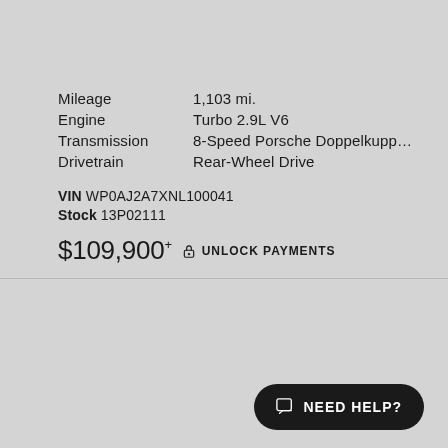Mileage  1,103 mi.
Engine  Turbo 2.9L V6
Transmission  8-Speed Porsche Doppelkupplung (P...
Drivetrain  Rear-Wheel Drive
VIN WP0AJ2A7XNL100041
Stock 13P02111
$109,900+ UNLOCK PAYMENTS
2022 Mercedes-Benz
4-Door Coupe AMG GT 53
NEED HELP?